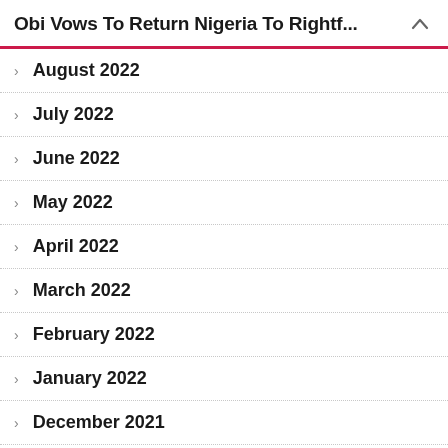Obi Vows To Return Nigeria To Rightf...
August 2022
July 2022
June 2022
May 2022
April 2022
March 2022
February 2022
January 2022
December 2021
November 2021
October 2021